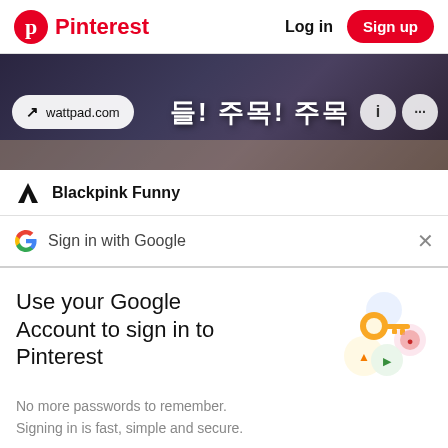Pinterest | Log in | Sign up
[Figure (screenshot): Video thumbnail with wattpad.com URL pill, Korean text '들! 주목! 주목' overlaid, info and more icons]
Blackpink Funny
Sign in with Google
Use your Google Account to sign in to Pinterest
[Figure (illustration): Google account security illustration with golden key, colored shapes and Google profile circles]
No more passwords to remember. Signing in is fast, simple and secure.
Continue